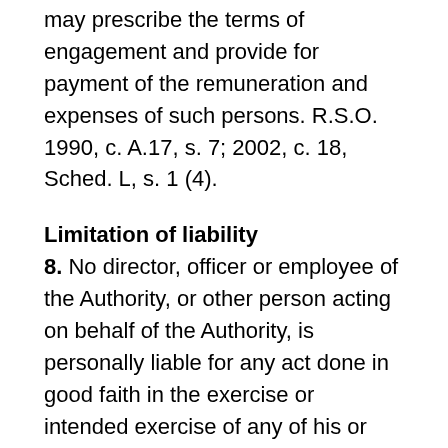may prescribe the terms of engagement and provide for payment of the remuneration and expenses of such persons. R.S.O. 1990, c. A.17, s. 7; 2002, c. 18, Sched. L, s. 1 (4).
Limitation of liability
8. No director, officer or employee of the Authority, or other person acting on behalf of the Authority, is personally liable for any act done in good faith in the exercise or intended exercise of any of his or her duties or powers or for any default or neglect in good faith in the exercise of any of his or her duties or powers. R.S.O. 1990, c. A.17, s. 8.
Objects
9. (1) Subject to subsection (2), the objects of the